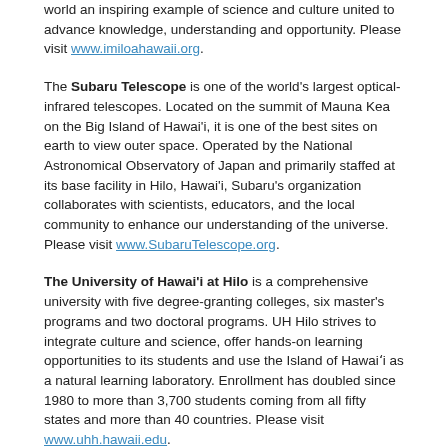world an inspiring example of science and culture united to advance knowledge, understanding and opportunity. Please visit www.imiloahawaii.org.
The Subaru Telescope is one of the world's largest optical-infrared telescopes. Located on the summit of Mauna Kea on the Big Island of Hawai'i, it is one of the best sites on earth to view outer space. Operated by the National Astronomical Observatory of Japan and primarily staffed at its base facility in Hilo, Hawai'i, Subaru's organization collaborates with scientists, educators, and the local community to enhance our understanding of the universe. Please visit www.SubaruTelescope.org.
The University of Hawai'i at Hilo is a comprehensive university with five degree-granting colleges, six master's programs and two doctoral programs. UH Hilo strives to integrate culture and science, offer hands-on learning opportunities to its students and use the Island of Hawai'i as a natural learning laboratory. Enrollment has doubled since 1980 to more than 3,700 students coming from all fifty states and more than 40 countries. Please visit www.uhh.hawaii.edu.
The University of Hawai'i Foundation, a nonprofit organization, raises private funds to support the University of Hawai'i System. Our mission is to unite our donors' passions with the University of Hawai'i's aspirations to benefit the people of Hawai'i and beyond. We do this by raising private philanthropic support, managing private investments and nurturing donor and alumni relationships. Please visit www.uhf.